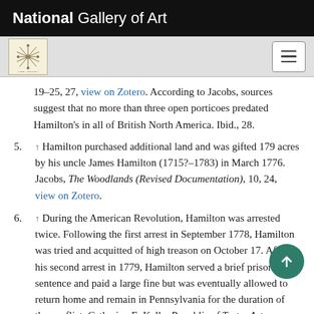National Gallery of Art
19–25, 27, view on Zotero. According to Jacobs, sources suggest that no more than three open porticoes predated Hamilton's in all of British North America. Ibid., 28.
5. ↑ Hamilton purchased additional land and was gifted 179 acres by his uncle James Hamilton (1715?–1783) in March 1776. Jacobs, The Woodlands (Revised Documentation), 10, 24, view on Zotero.
6. ↑ During the American Revolution, Hamilton was arrested twice. Following the first arrest in September 1778, Hamilton was tried and acquitted of high treason on October 17. After his second arrest in 1779, Hamilton served a brief prison sentence and paid a large fine but was eventually allowed to return home and remain in Pennsylvania for the duration of the conflict. Catherine E. Kelly, Republic of Taste: Art, Politics, and Everyday Life...